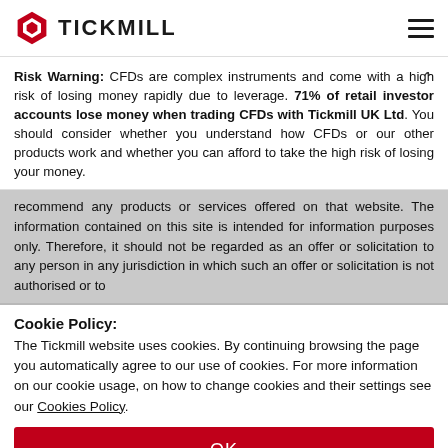TICKMILL
Risk Warning: CFDs are complex instruments and come with a high risk of losing money rapidly due to leverage. 71% of retail investor accounts lose money when trading CFDs with Tickmill UK Ltd. You should consider whether you understand how CFDs or our other products work and whether you can afford to take the high risk of losing your money.
recommend any products or services offered on that website. The information contained on this site is intended for information purposes only. Therefore, it should not be regarded as an offer or solicitation to any person in any jurisdiction in which such an offer or solicitation is not authorised or to
Cookie Policy:
The Tickmill website uses cookies. By continuing browsing the page you automatically agree to our use of cookies. For more information on our cookie usage, on how to change cookies and their settings see our Cookies Policy.
OK
Accept a
Your browser settings do not allow cross-site tracking for advertising. Click on this p AdRoll to use cross-site tracking to tailor ads to you. Learn more or opt out of this Ad by clicking here. This message only appears once.